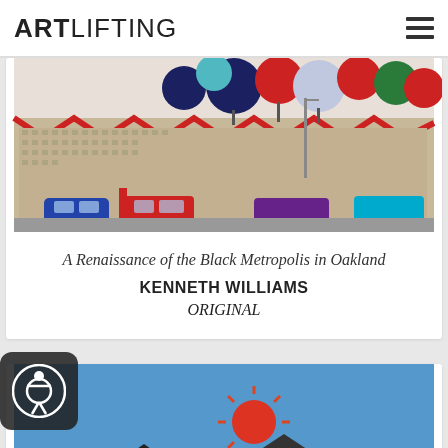ARTLIFTING
[Figure (photo): Colorful cityscape painting showing apartment buildings with red rooftops, colorful round treetops (red, blue, white, green, teal), street lamps, and cars (blue, red, purple) in foreground. Detailed windows cover the building facades.]
A Renaissance of the Black Metropolis in Oakland
KENNETH WILLIAMS
ORIGINAL
[Figure (photo): Partially visible painting with blue sky background, showing a sun with red rays and dark mountain/house shapes at the bottom.]